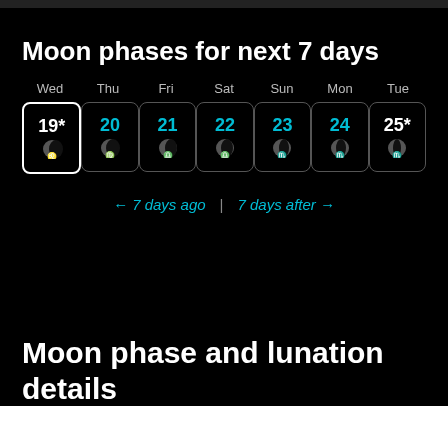Moon phases for next 7 days
[Figure (infographic): 7-day moon phase calendar showing Wed 19* through Tue 25* with moon phase icons and zodiac symbols. Days: Wed 19* (Leo), Thu 20 (Virgo), Fri 21 (Libra), Sat 22 (Libra), Sun 23 (Scorpio), Mon 24 (Scorpio), Tue 25* (Scorpio).]
← 7 days ago  |  7 days after →
Moon phase and lunation details